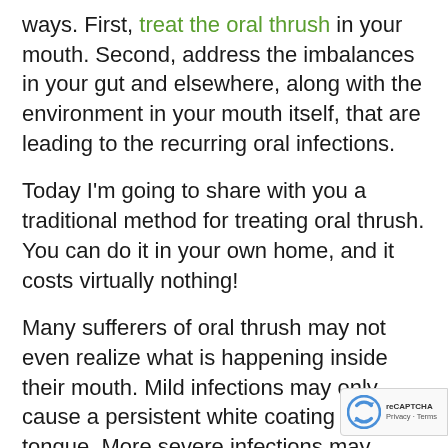ways. First, treat the oral thrush in your mouth. Second, address the imbalances in your gut and elsewhere, along with the environment in your mouth itself, that are leading to the recurring oral infections.
Today I'm going to share with you a traditional method for treating oral thrush. You can do it in your own home, and it costs virtually nothing!
Many sufferers of oral thrush may not even realize what is happening inside their mouth. Mild infections may only cause a persistent white coating on your tongue. More severe infections may appear as white sores on your tongue and inner cheeks. If you suspect that you are suffering from Candida and you se...